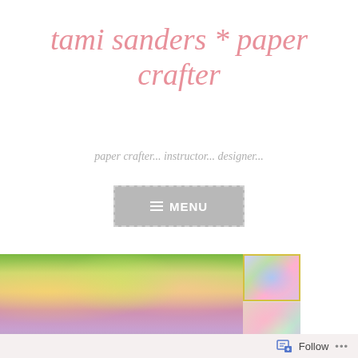tami sanders * paper crafter
paper crafter... instructor... designer...
[Figure (screenshot): Grey MENU button with dashed border and hamburger icon]
[Figure (photo): Three craft photos in a row: a wide photo of decorated jars with flowers, a square photo of a colorful framed artwork, and a square photo of a heart-shaped wreath with butterflies]
Follow ...